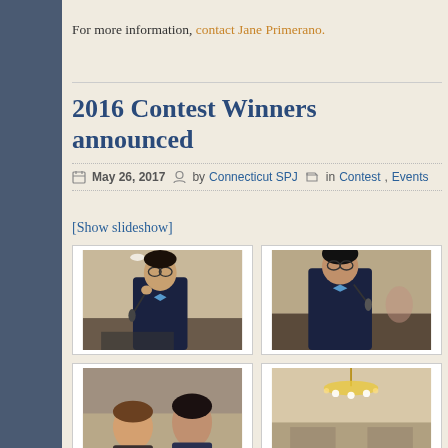For more information, contact Jane Primerano.
2016 Contest Winners announced
May 26, 2017  by Connecticut SPJ  in Contest, Events
[Show slideshow]
[Figure (photo): Man in dark suit with blue bow tie speaking into a microphone at a podium]
[Figure (photo): Man in dark suit with blue bow tie speaking into a microphone, partial view]
[Figure (photo): Two people partially visible at bottom of page]
[Figure (photo): Chandelier and interior setting, partial view at bottom right]